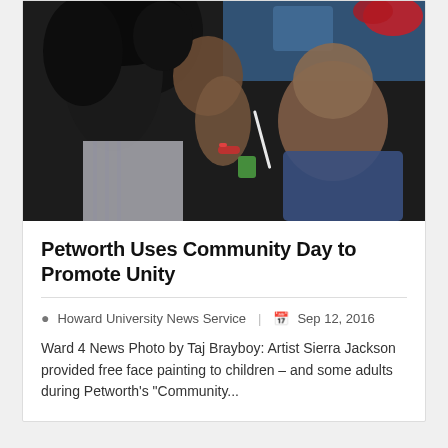[Figure (photo): A woman face painting a child at an outdoor community event. The painter has curly hair and colorful bracelets, holding a brush to the child's face. Blue tablecloth and supplies visible in background. Child wearing blue with a red bow in hair.]
Petworth Uses Community Day to Promote Unity
Howard University News Service  |  Sep 12, 2016
Ward 4 News Photo by Taj Brayboy: Artist Sierra Jackson provided free face painting to children – and some adults during Petworth's "Community...
RELATED ARTICLES